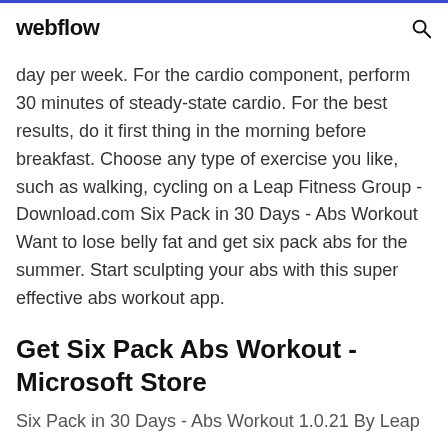webflow
day per week. For the cardio component, perform 30 minutes of steady-state cardio. For the best results, do it first thing in the morning before breakfast. Choose any type of exercise you like, such as walking, cycling on a Leap Fitness Group - Download.com Six Pack in 30 Days - Abs Workout Want to lose belly fat and get six pack abs for the summer. Start sculpting your abs with this super effective abs workout app.
Get Six Pack Abs Workout - Microsoft Store
Six Pack in 30 Days - Abs Workout 1.0.21 By Leap